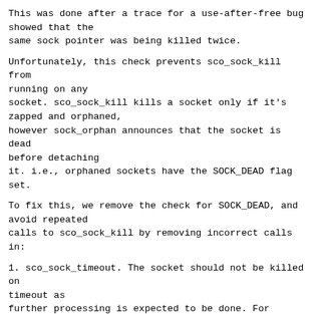This was done after a trace for a use-after-free bug showed that the
same sock pointer was being killed twice.
Unfortunately, this check prevents sco_sock_kill from running on any
socket. sco_sock_kill kills a socket only if it's zapped and orphaned,
however sock_orphan announces that the socket is dead before detaching
it. i.e., orphaned sockets have the SOCK_DEAD flag set.
To fix this, we remove the check for SOCK_DEAD, and avoid repeated
calls to sco_sock_kill by removing incorrect calls in:
1. sco_sock_timeout. The socket should not be killed on timeout as
further processing is expected to be done. For example,
sco_sock_connect sets the timer then waits for the socket to be
connected or for an error to be returned.
2. sco_conn_del. This function should clean up resources for the
connection, but the socket itself should be cleaned up in
sco_sock_release.
3. sco_sock_close. Calls to sco_sock_close in